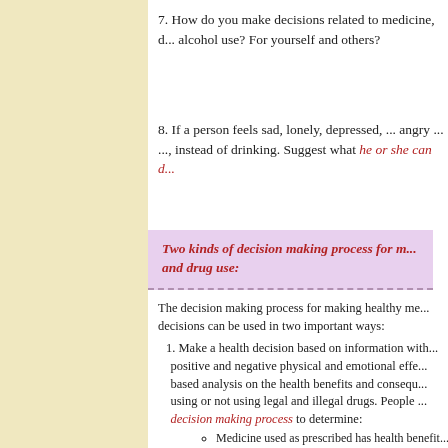7. How do you make decisions related to medicine, d... alcohol use? For yourself and others?
8. If a person feels sad, lonely, depressed, ... angry ... ..., instead of drinking. Suggest what he or she can d...
Two kinds of decision making process for m... and drug use:
The decision making process for making healthy me... decisions can be used in two important ways:
1. Make a health decision based on information with... positive and negative physical and emotional effe... based analysis on the health benefits and consequ... using or not using legal and illegal drugs. People ... decision making process to determine:
Medicine used as prescribed has health benefit...
Illegal drugs have detrimental health conseque...